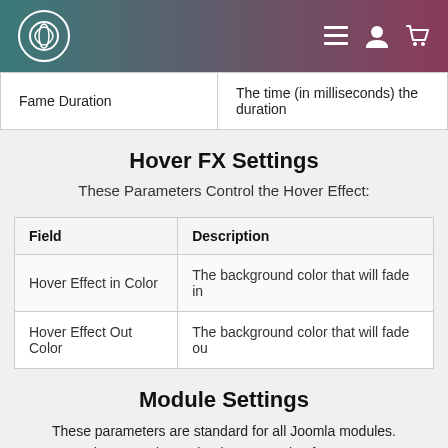[Logo] [Menu icon] [User icon] [Cart icon]
| Fame Duration | The time (in milliseconds) the duration |
| --- | --- |
Hover FX Settings
These Parameters Control the Hover Effect:
| Field | Description |
| --- | --- |
| Hover Effect in Color | The background color that will fade in |
| Hover Effect Out Color | The background color that will fade ou |
Module Settings
These parameters are standard for all Joomla modules. Please read Joomla! documentation for more